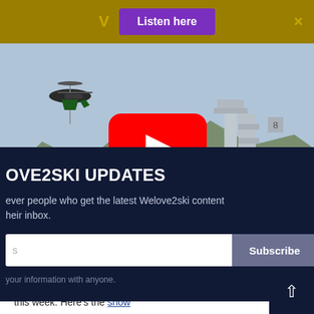V  Listen here  ×
[Figure (screenshot): YouTube video thumbnail showing a helicopter flying over mountainous terrain near a ski lift structure, with a red YouTube play button overlay in the center.]
OVE2SKI UPDATES
ever people who get the latest Welove2ski content heir inbox.
Subscribe
your information with anyone.
Since the big dumps of May 12-16, the weather's been much milder: there will be a little more of the white stuff this week. Here's the snow